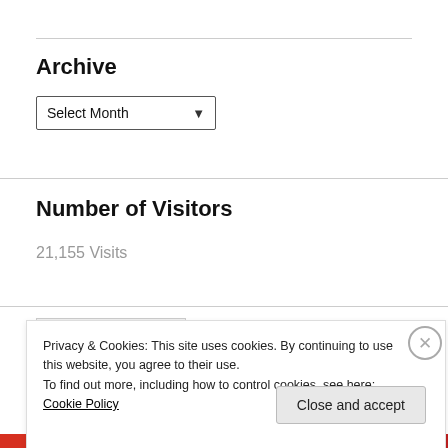Archive
Select Month
Number of Visitors
21,155 Visits
[Figure (logo): PROTECTED BY COPYSCAPE badge with gray background]
Privacy & Cookies: This site uses cookies. By continuing to use this website, you agree to their use.
To find out more, including how to control cookies, see here: Cookie Policy
Close and accept